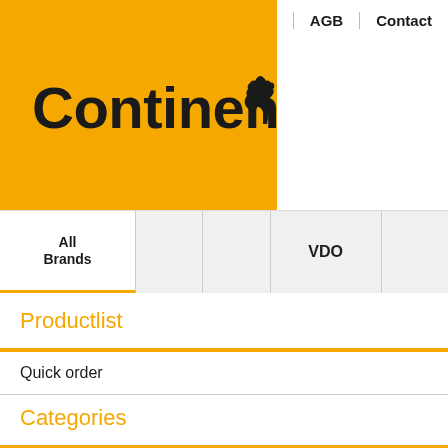[Figure (logo): Continental logo with horse on orange background, navigation links AGB and Contact in top right]
All Brands
VDO
Productlist
Quick order
Categories
X-Mas Special